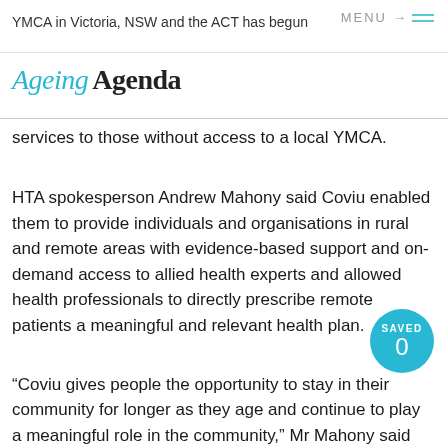YMCA in Victoria, NSW and the ACT has begun
[Figure (logo): Ageing Agenda magazine logo — 'Ageing' in italic cyan text and 'Agenda' in bold black text]
services to those without access to a local YMCA.
HTA spokesperson Andrew Mahony said Coviu enabled them to provide individuals and organisations in rural and remote areas with evidence-based support and on-demand access to allied health experts and allowed health professionals to directly prescribe remote patients a meaningful and relevant health plan.
“Coviu gives people the opportunity to stay in their community for longer as they age and continue to play a meaningful role in the community,” Mr Mahony said